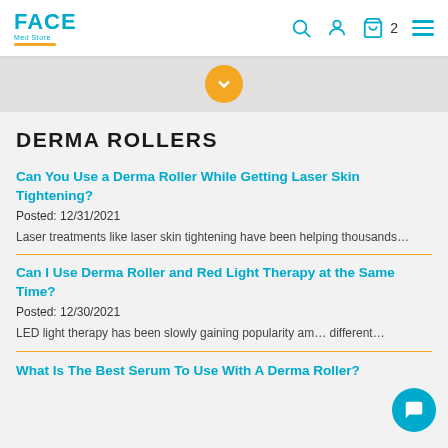[Figure (logo): FACE Med Store logo with cyan text and yellow underline]
DERMA ROLLERS
Can You Use a Derma Roller While Getting Laser Skin Tightening?
Posted: 12/31/2021
Laser treatments like laser skin tightening have been helping thousands…
Can I Use Derma Roller and Red Light Therapy at the Same Time?
Posted: 12/30/2021
LED light therapy has been slowly gaining popularity am… different…
What Is The Best Serum To Use With A Derma Roller?